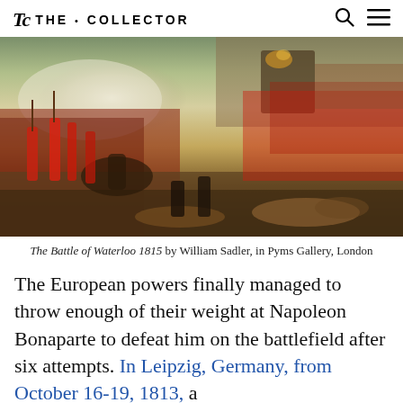TC THE·COLLECTOR
[Figure (photo): Painting of the Battle of Waterloo 1815 by William Sadler, depicting soldiers on horseback and on foot in a chaotic battle scene with smoke and gunfire, wearing red British uniforms and other military dress of the Napoleonic era.]
The Battle of Waterloo 1815 by William Sadler, in Pyms Gallery, London
The European powers finally managed to throw enough of their weight at Napoleon Bonaparte to defeat him on the battlefield after six attempts. In Leipzig, Germany, from October 16-19, 1813, a